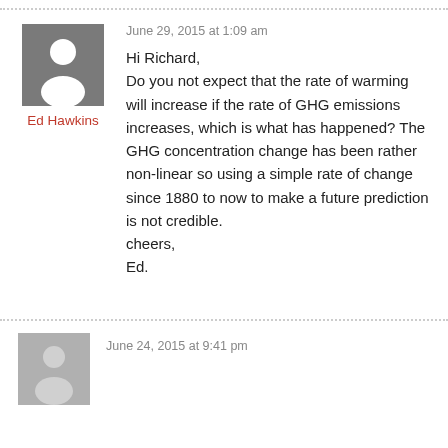June 29, 2015 at 1:09 am
Ed Hawkins
Hi Richard,
Do you not expect that the rate of warming will increase if the rate of GHG emissions increases, which is what has happened? The GHG concentration change has been rather non-linear so using a simple rate of change since 1880 to now to make a future prediction is not credible.
cheers,
Ed.
June 24, 2015 at 9:41 pm